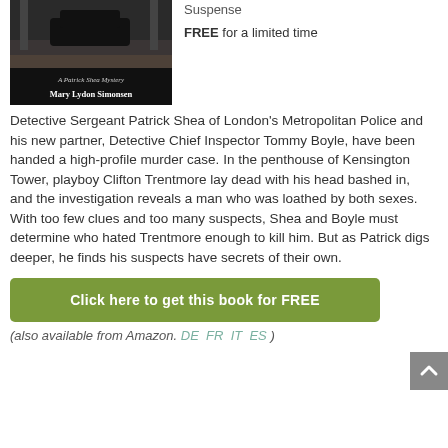[Figure (illustration): Book cover for 'A Patrick Shea Mystery' by Mary Lydon Simonsen, showing a crowd scene with a dark car, with text 'A Patrick Shea Mystery' and 'Mary Lydon Simonsen' on a dark background]
Suspense
FREE for a limited time
Detective Sergeant Patrick Shea of London's Metropolitan Police and his new partner, Detective Chief Inspector Tommy Boyle, have been handed a high-profile murder case. In the penthouse of Kensington Tower, playboy Clifton Trentmore lay dead with his head bashed in, and the investigation reveals a man who was loathed by both sexes. With too few clues and too many suspects, Shea and Boyle must determine who hated Trentmore enough to kill him. But as Patrick digs deeper, he finds his suspects have secrets of their own.
Click here to get this book for FREE
(also available from Amazon. DE FR IT ES )